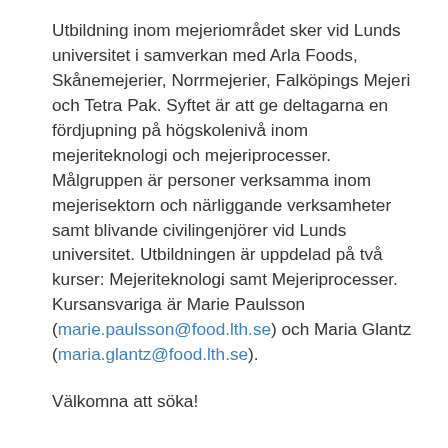Utbildning inom mejeriområdet sker vid Lunds universitet i samverkan med Arla Foods, Skånemejerier, Norrmejerier, Falköpings Mejeri och Tetra Pak. Syftet är att ge deltagarna en fördjupning på högskolenivå inom mejeriteknologi och mejeriprocesser. Målgruppen är personer verksamma inom mejerisektorn och närliggande verksamheter samt blivande civilingenjörer vid Lunds universitet. Utbildningen är uppdelad på två kurser: Mejeriteknologi samt Mejeriprocesser. Kursansvariga är Marie Paulsson (marie.paulsson@food.lth.se) och Maria Glantz (maria.glantz@food.lth.se).
Välkomna att söka!